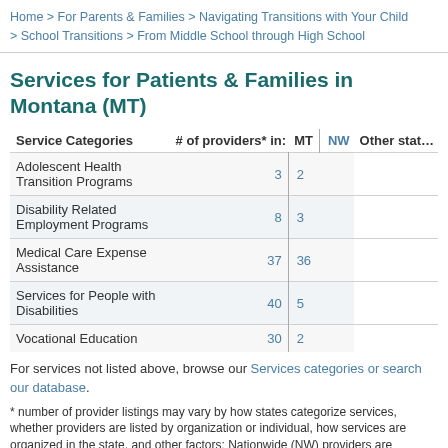Home > For Parents & Families > Navigating Transitions with Your Child > School Transitions > From Middle School through High School
Services for Patients & Families in Montana (MT)
| Service Categories | # of providers* in: | MT | NW | Other states |
| --- | --- | --- | --- | --- |
| Adolescent Health Transition Programs |  | 3 | 2 |  |
| Disability Related Employment Programs |  | 8 | 3 |  |
| Medical Care Expense Assistance |  | 37 | 36 |  |
| Services for People with Disabilities |  | 40 | 5 |  |
| Vocational Education |  | 30 | 2 |  |
For services not listed above, browse our Services categories or search our database.
* number of provider listings may vary by how states categorize services, whether providers are listed by organization or individual, how services are organized in the state, and other factors; Nationwide (NW) providers are generally limited to web-based services, provider locator services, and organizations that serve children from across the nation.